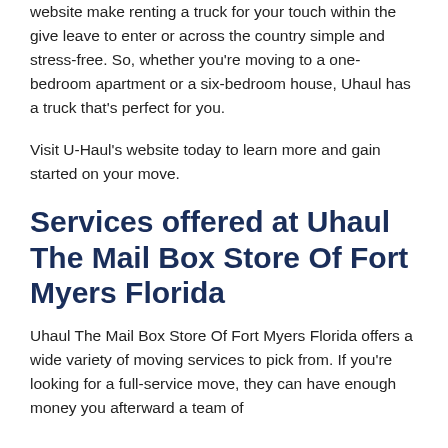website make renting a truck for your touch within the give leave to enter or across the country simple and stress-free. So, whether you're moving to a one-bedroom apartment or a six-bedroom house, Uhaul has a truck that's perfect for you.
Visit U-Haul's website today to learn more and gain started on your move.
Services offered at Uhaul The Mail Box Store Of Fort Myers Florida
Uhaul The Mail Box Store Of Fort Myers Florida offers a wide variety of moving services to pick from. If you're looking for a full-service move, they can have enough money you afterward a team of